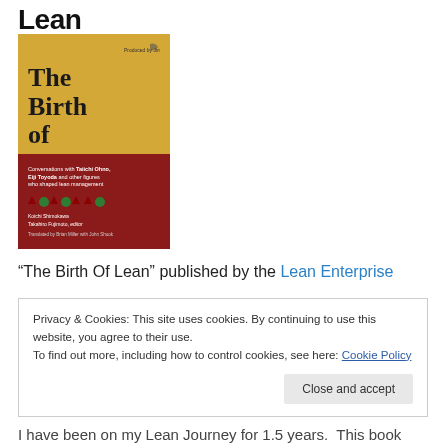Lean
[Figure (photo): Book cover of 'The Birth of Lean' with golden top section showing title and dark red bottom section with subtitle text about conversations with Taiichi Ohno, Eiji Toyoda and other figures who shaped lean management]
“The Birth Of Lean” published by the Lean Enterprise
Privacy & Cookies: This site uses cookies. By continuing to use this website, you agree to their use.
To find out more, including how to control cookies, see here: Cookie Policy
Close and accept
I have been on my Lean Journey for 1.5 years.  This book